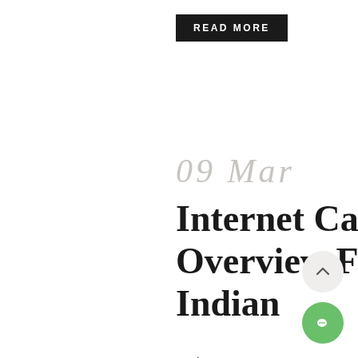READ MORE
09 Mar
Internet Casino Overview For Indian
→
₹40,000